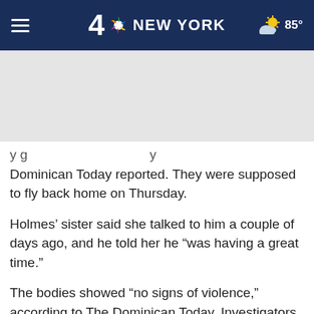4 NBC NEW YORK  85°
[Figure (other): Advertisement / blank gray placeholder area]
y g                              y Dominican Today reported. They were supposed to fly back home on Thursday.
Holmes' sister said she talked to him a couple of days ago, and he told her he "was having a great time."
The bodies showed "no signs of violence," according to The Dominican Today. Investigators have not determined the cause or manner of death.